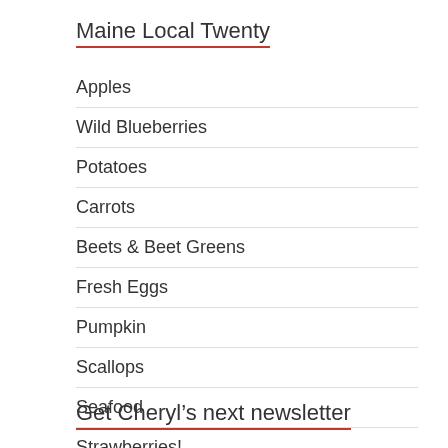Maine Local Twenty
Apples
Wild Blueberries
Potatoes
Carrots
Beets & Beet Greens
Fresh Eggs
Pumpkin
Scallops
Seafood
Strawberries!
Get Cheryl’s next newsletter